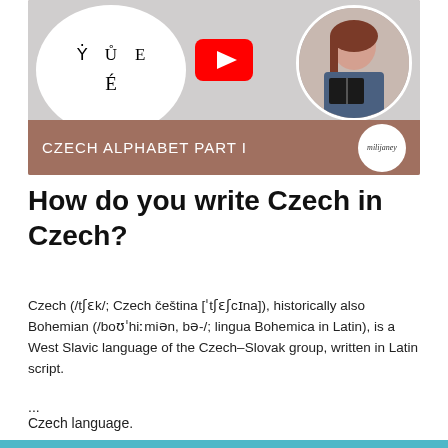[Figure (screenshot): YouTube video thumbnail for 'Czech Alphabet Part I' by milijaney, showing speech bubble with diacritic letters (Ý, Ů, E, É), a YouTube play button, and a woman reading a book in a circle, with a brown banner at the bottom reading 'CZECH ALPHABET PART I' and a milijaney speech bubble logo.]
How do you write Czech in Czech?
Czech (/tʃɛk/; Czech čeština [ˈtʃɛʃcɪna]), historically also Bohemian (/boʊˈhiːmiən, bə-/; lingua Bohemica in Latin), is a West Slavic language of the Czech–Slovak group, written in Latin script.
...
Czech language.